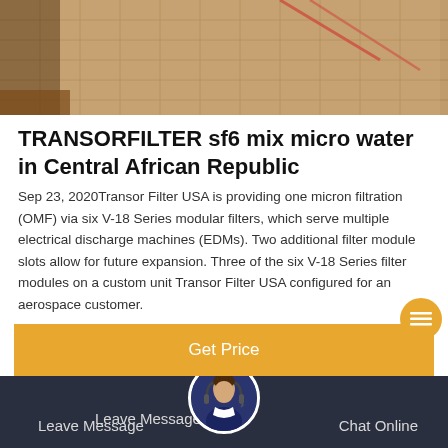[Figure (photo): Top banner photo showing what appears to be a grid/filter material on a surface, with warm tones and some red accents]
TRANSORFILTER sf6 mix micro water in Central African Republic
Sep 23, 2020Transor Filter USA is providing one micron filtration (OMF) via six V-18 Series modular filters, which serve multiple electrical discharge machines (EDMs). Two additional filter module slots allow for future expansion. Three of the six V-18 Series filter modules on a custom unit Transor Filter USA configured for an aerospace customer.
[Figure (other): Orange 'Get Price' button banner]
[Figure (photo): Bottom dark bar with chat support interface showing avatar of a customer service representative, Leave Message on left, Chat Online on right]